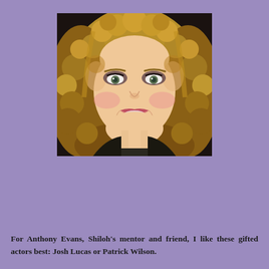[Figure (photo): Portrait photo of a young woman with long, curly blonde hair, wearing dark eye makeup and a necklace, smiling at the camera against a dark background.]
For Anthony Evans, Shiloh's mentor and friend, I like these gifted actors best: Josh Lucas or Patrick Wilson.